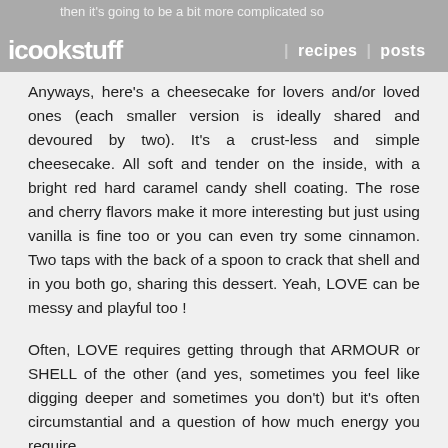then it's going to be a bit more complicated so icookstuff | recipes | posts
Anyways, here's a cheesecake for lovers and/or loved ones (each smaller version is ideally shared and devoured by two). It's a crust-less and simple cheesecake. All soft and tender on the inside, with a bright red hard caramel candy shell coating. The rose and cherry flavors make it more interesting but just using vanilla is fine too or you can even try some cinnamon. Two taps with the back of a spoon to crack that shell and in you both go, sharing this dessert. Yeah, LOVE can be messy and playful too !
Often, LOVE requires getting through that ARMOUR or SHELL of the other (and yes, sometimes you feel like digging deeper and sometimes you don't) but it's often circumstantial and a question of how much energy you require